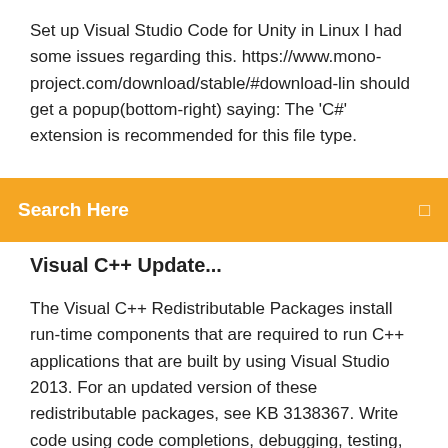Set up Visual Studio Code for Unity in Linux I had some issues regarding this. https://www.mono-project.com/download/stable/#download-lin should get a popup(bottom-right) saying: The 'C#' extension is recommended for this file type.
Search Here
Visual C++ Update...
The Visual C++ Redistributable Packages install run-time components that are required to run C++ applications that are built by using Visual Studio 2013. For an updated version of these redistributable packages, see KB 3138367. Write code using code completions, debugging, testing, Git management, and cloud deployments with Visual Studio. Download Community for free today. In Visual Studio 2015, simply go into Tools | Extensions and Updates to install Visual Studio 2015 Tools for Unity. Microsoft Visual Studio is an integrated